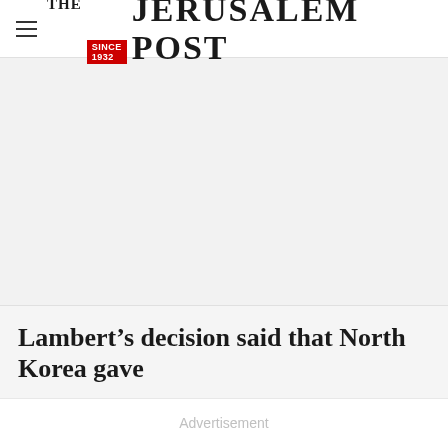THE JERUSALEM POST
[Figure (other): Advertisement placeholder area, light gray background]
Lambert’s decision said that North Korea gave
Advertisement